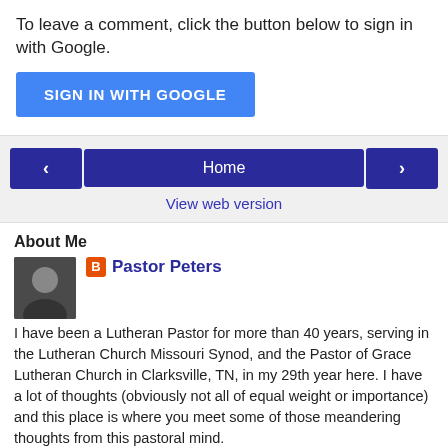To leave a comment, click the button below to sign in with Google.
[Figure (other): Blue 'SIGN IN WITH GOOGLE' button]
[Figure (other): Navigation bar with left arrow button, Home button, and right arrow button]
View web version
About Me
[Figure (photo): Profile photo of Pastor Peters, a man in dark clothing]
Pastor Peters
I have been a Lutheran Pastor for more than 40 years, serving in the Lutheran Church Missouri Synod, and the Pastor of Grace Lutheran Church in Clarksville, TN, in my 29th year here. I have a lot of thoughts (obviously not all of equal weight or importance) and this place is where you meet some of those meandering thoughts from this pastoral mind.
View my complete profile